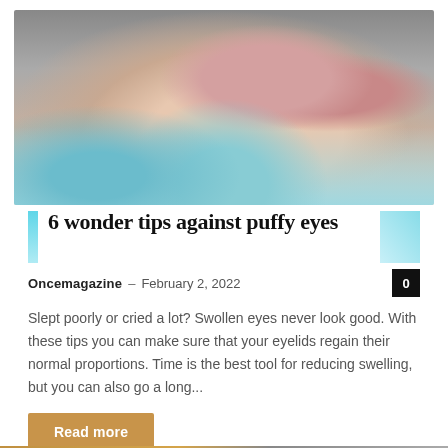[Figure (photo): Woman with pink/red under-eye gel patches holding her face with both hands, eyes closed, smiling. Background is blurred grey and teal.]
6 wonder tips against puffy eyes
Oncemagazine – February 2, 2022
Slept poorly or cried a lot? Swollen eyes never look good. With these tips you can make sure that your eyelids regain their normal proportions. Time is the best tool for reducing swelling, but you can also go a long...
Read more